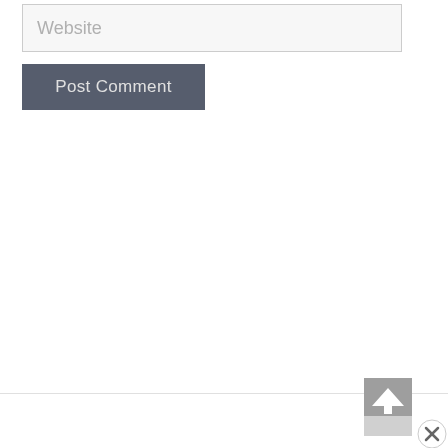Website
Post Comment
[Figure (screenshot): Scroll-to-top button widget with a grey background and upward arrow, partially visible at bottom right, along with a close (X) circle button]